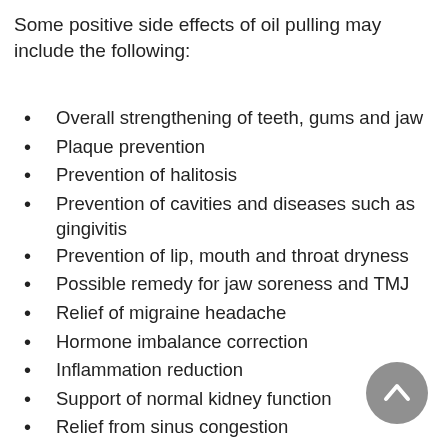Some positive side effects of oil pulling may include the following:
Overall strengthening of teeth, gums and jaw
Plaque prevention
Prevention of halitosis
Prevention of cavities and diseases such as gingivitis
Prevention of lip, mouth and throat dryness
Possible remedy for jaw soreness and TMJ
Relief of migraine headache
Hormone imbalance correction
Inflammation reduction
Support of normal kidney function
Relief from sinus congestion
Relief from eczema
Improved vision
Pain reduction
Aids in detoxification